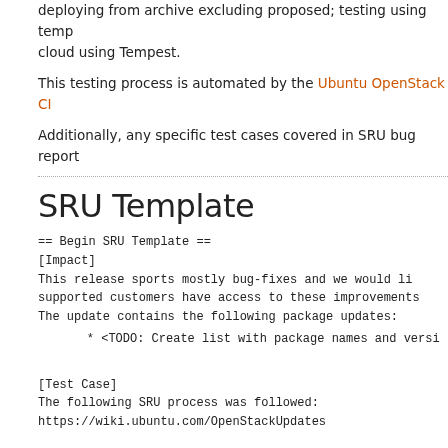deploying from archive excluding proposed; testing using Tempest on cloud using Tempest.
This testing process is automated by the Ubuntu OpenStack CI
Additionally, any specific test cases covered in SRU bug report
SRU Template
== Begin SRU Template ==
[Impact]
This release sports mostly bug-fixes and we would li
supported customers have access to these improvements
The update contains the following package updates:
* <TODO: Create list with package names and versi
[Test Case]
The following SRU process was followed:
https://wiki.ubuntu.com/OpenStackUpdates
In order to avoid regression of existing consumers,
run their continuous integration test against the pa
A successful run of all available tests